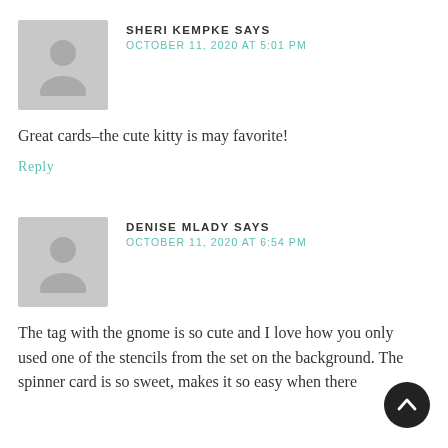[Figure (illustration): Gray avatar silhouette for user Sheri Kempke]
SHERI KEMPKE SAYS
OCTOBER 11, 2020 AT 5:01 PM
Great cards–the cute kitty is may favorite!
Reply
[Figure (illustration): Gray avatar silhouette for user Denise Mlady]
DENISE MLADY SAYS
OCTOBER 11, 2020 AT 6:54 PM
The tag with the gnome is so cute and I love how you only used one of the stencils from the set on the background. The spinner card is so sweet, makes it so easy when there is a front and back in one...
[Figure (illustration): Back to top button, dark circle with upward chevron arrow]